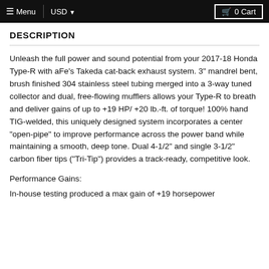Menu | USD ▼ | 0 Cart
DESCRIPTION
Unleash the full power and sound potential from your 2017-18 Honda Type-R with aFe's Takeda cat-back exhaust system. 3" mandrel bent, brush finished 304 stainless steel tubing merged into a 3-way tuned collector and dual, free-flowing mufflers allows your Type-R to breath and deliver gains of up to +19 HP/ +20 lb.-ft. of torque! 100% hand TIG-welded, this uniquely designed system incorporates a center "open-pipe" to improve performance across the power band while maintaining a smooth, deep tone. Dual 4-1/2" and single 3-1/2" carbon fiber tips ("Tri-Tip") provides a track-ready, competitive look.
Performance Gains:
In-house testing produced a max gain of +19 horsepower